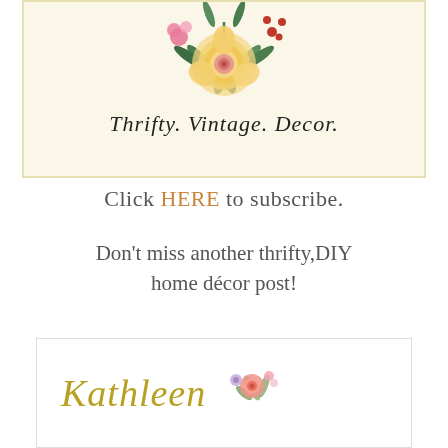[Figure (logo): Thrifty Vintage Decor blog logo card with watercolor floral arrangement (yellow rose, pink flowers, green leaves) above script text reading 'Thrifty. Vintage. Decor.' on a cream background with gold border]
Click HERE to subscribe.
Don't miss another thrifty,DIY home décor post!
[Figure (logo): Signature card with the name 'Kathleen' in gold italic script font accompanied by a small watercolor floral motif on a white card with light border]